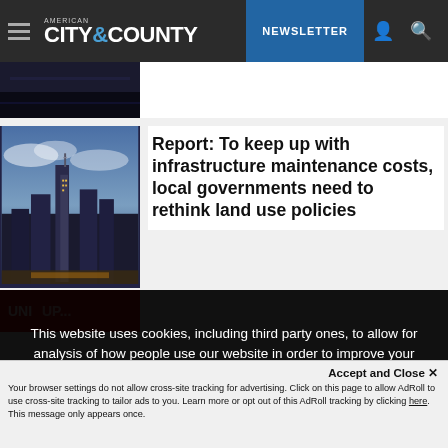American City & County — NEWSLETTER
[Figure (photo): Partial image of a dark bridge or road scene at the top of the page]
[Figure (photo): Aerial cityscape photo of a city skyline lit up at night with tall skyscrapers]
Report: To keep up with infrastructure maintenance costs, local governments need to rethink land use policies
[Figure (photo): Partial red banner image partially visible at the bottom]
This website uses cookies, including third party ones, to allow for analysis of how people use our website in order to improve your experience and our services. By continuing to use our website, you agree to the use of such cookies. Click here for more information on our Cookie Policy and Privacy Policy
Accept and Close ✕
Your browser settings do not allow cross-site tracking for advertising. Click on this page to allow AdRoll to use cross-site tracking to tailor ads to you. Learn more or opt out of this AdRoll tracking by clicking here. This message only appears once.